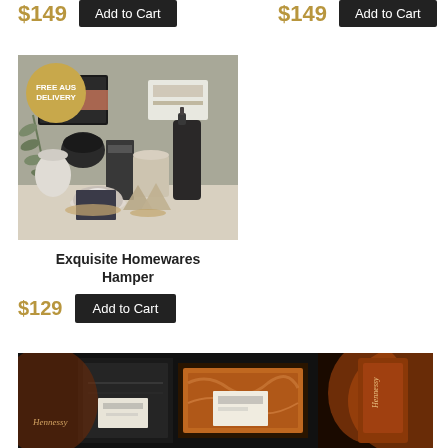$149
Add to Cart
$149
Add to Cart
[Figure (photo): Gift hamper with homewares items: candle, soap dispenser, cup, tea bags, towel, skincare products arranged on a white surface. Has 'FREE AUS DELIVERY' badge.]
Exquisite Homewares Hamper
$129
Add to Cart
[Figure (photo): Dark background product photo showing Hennessy branded boxes and bottles with copper/brown packaging. A tan square badge with a chat/speech bubble icon is overlaid on the left.]